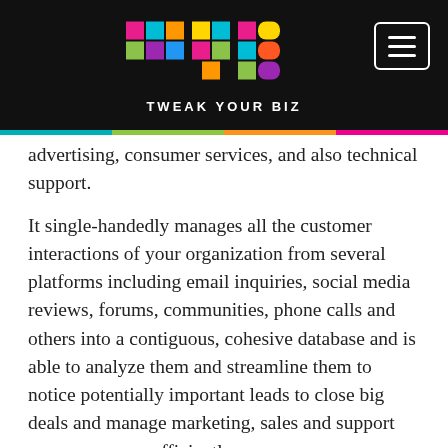[Figure (logo): Tweak Your Biz logo with colorful TYB letters on black background header bar]
advertising, consumer services, and also technical support.
It single-handedly manages all the customer interactions of your organization from several platforms including email inquiries, social media reviews, forums, communities, phone calls and others into a contiguous, cohesive database and is able to analyze them and streamline them to notice potentially important leads to close big deals and manage marketing, sales and support processes more efficiently.
What the SalesForce Platform Is
There is one tremendously unique thing about Salesforce